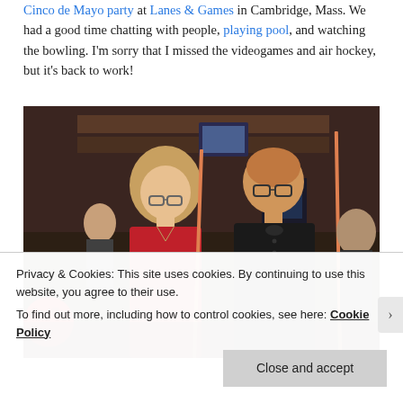Cinco de Mayo party at Lanes & Games in Cambridge, Mass. We had a good time chatting with people, playing pool, and watching the bowling. I'm sorry that I missed the videogames and air hockey, but it's back to work!
[Figure (photo): Two people holding pool cues in a dark bowling alley / games venue. A woman in a red shirt with glasses on the left, and a man in a black shirt with glasses on the right. A red bowling ball is visible in the lower left.]
Privacy & Cookies: This site uses cookies. By continuing to use this website, you agree to their use. To find out more, including how to control cookies, see here: Cookie Policy
Close and accept